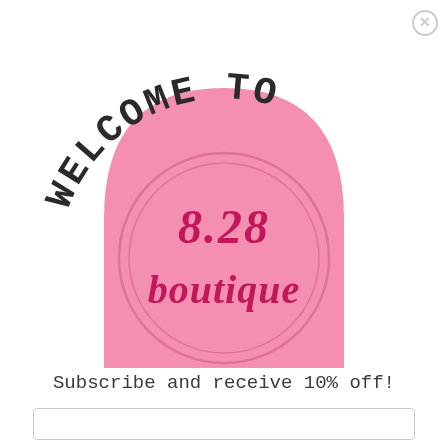[Figure (illustration): A pink arch/dome shape with 'WELCOME TO' text in handwritten style arched over it, containing a circle with '8.28 boutique' text in pink script inside, forming a boutique welcome graphic]
Subscribe and receive 10% off!